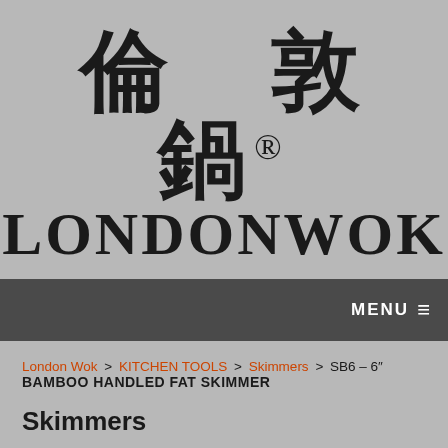[Figure (logo): LondonWok logo with Chinese characters 倫敦鍋 above the text LONDONWOK with registered trademark symbol]
MENU ☰
London Wok > KITCHEN TOOLS > Skimmers > SB6 – 6″ BAMBOO HANDLED FAT SKIMMER
Skimmers